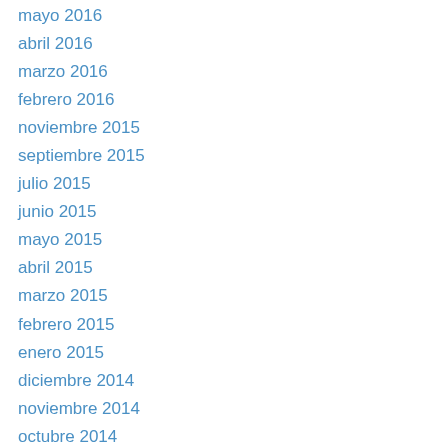mayo 2016
abril 2016
marzo 2016
febrero 2016
noviembre 2015
septiembre 2015
julio 2015
junio 2015
mayo 2015
abril 2015
marzo 2015
febrero 2015
enero 2015
diciembre 2014
noviembre 2014
octubre 2014
septiembre 2014
agosto 2014
julio 2014
junio 2014